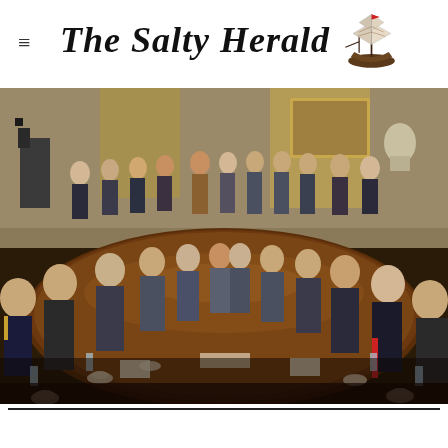The Salty Herald
[Figure (photo): A formal meeting around a large oval wooden table in what appears to be the White House Cabinet Room. Military officers in uniform and civilians in suits are seated around the table. Camera crew and additional personnel stand in the background. Cups, glasses, and papers are on the table.]